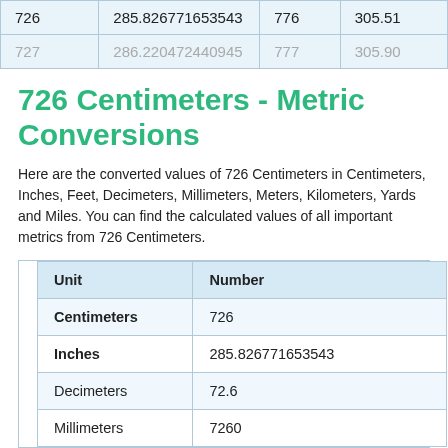|  |  |  |  |
| --- | --- | --- | --- |
| 726 | 285.826771653543 | 776 | 305.51 |
| 727 | 286.220472440945 | 777 | 305.90 |
726 Centimeters - Metric Conversions
Here are the converted values of 726 Centimeters in Centimeters, Inches, Feet, Decimeters, Millimeters, Meters, Kilometers, Yards and Miles. You can find the calculated values of all important metrics from 726 Centimeters.
| Unit | Number |
| --- | --- |
| Centimeters | 726 |
| Inches | 285.826771653543 |
| Decimeters | 72.6 |
| Millimeters | 7260 |